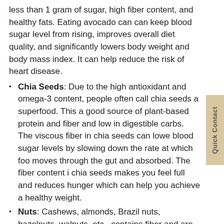less than 1 gram of sugar, high fiber content, and healthy fats. Eating avocado can can keep blood sugar level from rising, improves overall diet quality, and significantly lowers body weight and body mass index. It can help reduce the risk of heart disease.
Chia Seeds: Due to the high antioxidant and omega-3 content, people often call chia seeds a superfood. This a good source of plant-based protein and fiber and low in digestible carbs. The viscous fiber in chia seeds can lower blood sugar levels by slowing down the rate at which food moves through the gut and absorbed. The fiber content in chia seeds makes you feel full and reduces hunger which can help you achieve a healthy weight.
Nuts: Cashews, almonds, Brazil nuts, hazelnuts, walnuts, etc., contains fiber and are low in net carbs. Nuts help people with diabetes improve heart health. Research shows that regular consumption of nuts may reduce inflammation and blood sugar levels, and also lower LDL